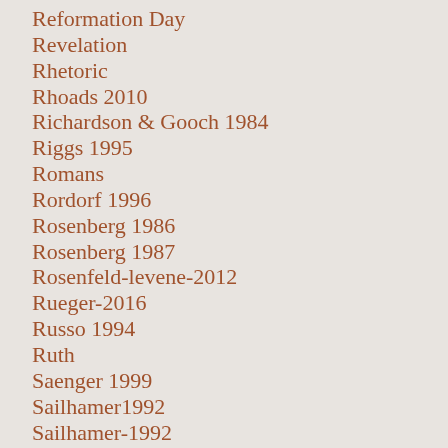Reformation Day
Revelation
Rhetoric
Rhoads 2010
Richardson & Gooch 1984
Riggs 1995
Romans
Rordorf 1996
Rosenberg 1986
Rosenberg 1987
Rosenfeld-levene-2012
Rueger-2016
Russo 1994
Ruth
Saenger 1999
Sailhamer1992
Sailhamer-1992
Sale 1996
Samuel